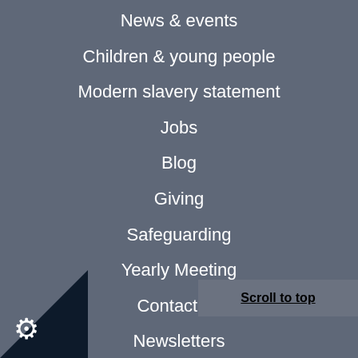News & events
Children & young people
Modern slavery statement
Jobs
Blog
Giving
Safeguarding
Yearly Meeting
Contact us
Newsletters
Connect with us
Scroll to top